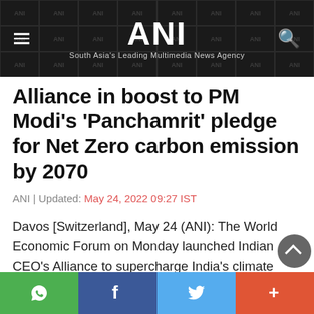ANI | South Asia's Leading Multimedia News Agency
Alliance in boost to PM Modi's 'Panchamrit' pledge for Net Zero carbon emission by 2070
ANI | Updated: May 24, 2022 09:27 IST
Davos [Switzerland], May 24 (ANI): The World Economic Forum on Monday launched Indian CEO's Alliance to supercharge India's climate action and decarbonization efforts which will
WhatsApp | Facebook | Twitter | More